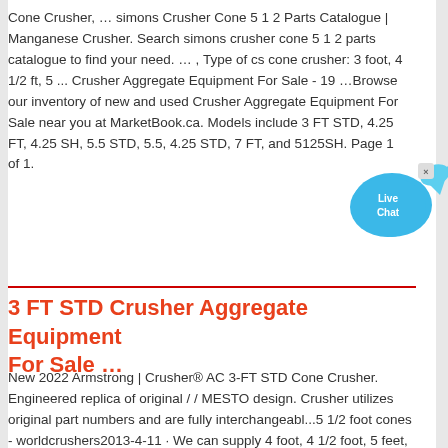Cone Crusher, … simons Crusher Cone 5 1 2 Parts Catalogue | Manganese Crusher. Search simons crusher cone 5 1 2 parts catalogue to find your need. … , Type of cs cone crusher: 3 foot, 4 1/2 ft, 5 ... Crusher Aggregate Equipment For Sale - 19 …Browse our inventory of new and used Crusher Aggregate Equipment For Sale near you at MarketBook.ca. Models include 3 FT STD, 4.25 FT, 4.25 SH, 5.5 STD, 5.5, 4.25 STD, 7 FT, and 5125SH. Page 1 of 1.
[Figure (other): Live Chat widget — a blue speech bubble with 'Live Chat' text and a small X close button in the top right corner]
3 FT STD Crusher Aggregate Equipment For Sale …
New 2022 Armstrong | Crusher® AC 3-FT STD Cone Crusher. Engineered replica of original / / MESTO design. Crusher utilizes original part numbers and are fully interchangeabl...5 1/2 foot cones - worldcrushers2013-4-11 · We can supply 4 foot, 4 1/2 foot, 5 feet, 7"" CS cone crusher,the … 5.25 FT cone crusher instruction manual, Crusher … Cone Crusher, … simons Crusher Cone 5 1 2 Parts